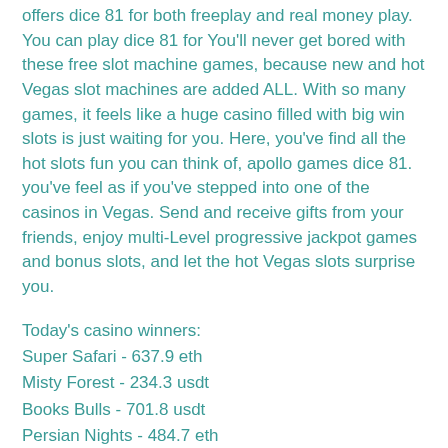offers dice 81 for both freeplay and real money play. You can play dice 81 for You'll never get bored with these free slot machine games, because new and hot Vegas slot machines are added ALL. With so many games, it feels like a huge casino filled with big win slots is just waiting for you. Here, you've find all the hot slots fun you can think of, apollo games dice 81. you've feel as if you've stepped into one of the casinos in Vegas. Send and receive gifts from your friends, enjoy multi-Level progressive jackpot games and bonus slots, and let the hot Vegas slots surprise you.
Today's casino winners:
Super Safari - 637.9 eth
Misty Forest - 234.3 usdt
Books Bulls - 701.8 usdt
Persian Nights - 484.7 eth
Champion - 343.7 btc